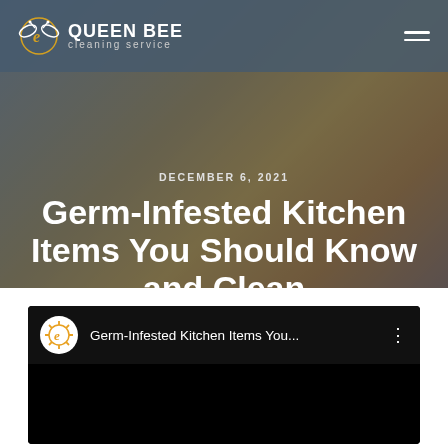QUEEN BEE cleaning service
DECEMBER 6, 2021
Germ-Infested Kitchen Items You Should Know and Clean
[Figure (screenshot): YouTube video embed with Queen Bee Cleaning Service logo and title 'Germ-Infested Kitchen Items You...' on a black background]